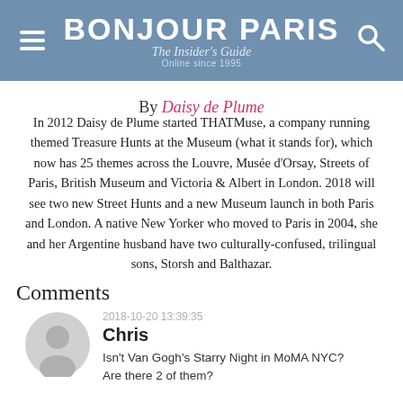BONJOUR PARIS — The Insider's Guide — Online since 1995
By Daisy de Plume
In 2012 Daisy de Plume started THATMuse, a company running themed Treasure Hunts at the Museum (what it stands for), which now has 25 themes across the Louvre, Musée d'Orsay, Streets of Paris, British Museum and Victoria & Albert in London. 2018 will see two new Street Hunts and a new Museum launch in both Paris and London. A native New Yorker who moved to Paris in 2004, she and her Argentine husband have two culturally-confused, trilingual sons, Storsh and Balthazar.
Comments
2018-10-20 13:39:35
Chris
Isn't Van Gogh's Starry Night in MoMA NYC? Are there 2 of them?